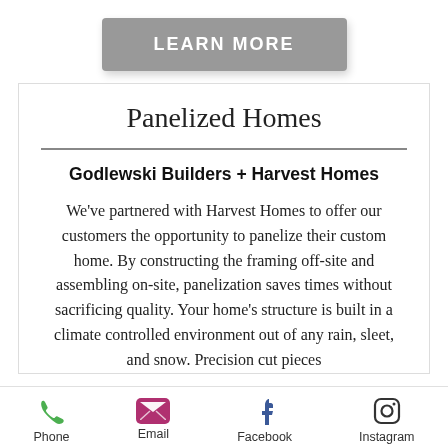[Figure (other): Gray 'LEARN MORE' button with drop shadow]
Panelized Homes
Godlewski Builders + Harvest Homes
We've partnered with Harvest Homes to offer our customers the opportunity to panelize their custom home. By constructing the framing off-site and assembling on-site, panelization saves times without sacrificing quality. Your home's structure is built in a climate controlled environment out of any rain, sleet, and snow. Precision cut pieces
Phone   Email   Facebook   Instagram